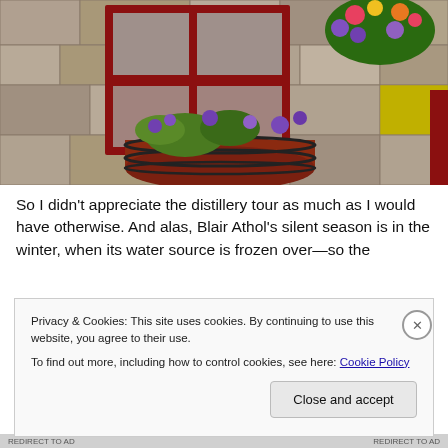[Figure (photo): A stone building exterior with a red-framed window divided into 6 panes. A large red barrel planter sits below the window filled with purple and green flowering plants. To the upper right, a hanging basket overflows with colorful flowers including purple, red, and yellow blooms.]
So I didn't appreciate the distillery tour as much as I would have otherwise. And alas, Blair Athol's silent season is in the winter, when its water source is frozen over—so the
Privacy & Cookies: This site uses cookies. By continuing to use this website, you agree to their use.
To find out more, including how to control cookies, see here: Cookie Policy
Close and accept
REDIRECT TO AD   REDIRECT TO AD